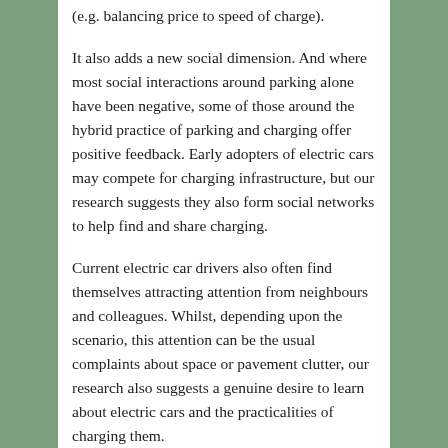(e.g. balancing price to speed of charge).
It also adds a new social dimension. And where most social interactions around parking alone have been negative, some of those around the hybrid practice of parking and charging offer positive feedback. Early adopters of electric cars may compete for charging infrastructure, but our research suggests they also form social networks to help find and share charging.
Current electric car drivers also often find themselves attracting attention from neighbours and colleagues. Whilst, depending upon the scenario, this attention can be the usual complaints about space or pavement clutter, our research also suggests a genuine desire to learn about electric cars and the practicalities of charging them.
Will these changes, as they gain momentum alongside the mass adoption of electric-powered cars, be enough to rid our pavements and public realm of the scourge